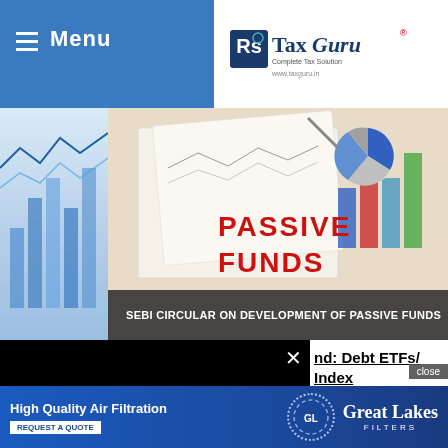Menu
[Figure (logo): TaxGuru logo with tagline 'Complete Tax Solution' and URL www.taxguru.in]
[Figure (photo): Photo of documents with 'PASSIVE FUNDS' text in red and charts visible in background]
SEBI CIRCULAR ON DEVELOPMENT OF PASSIVE FUNDS
[Figure (other): Black video player popup with loading spinner and X close button]
nd: Debt ETFs/ Index bills and SDLs
shall be considered to be ndex, provided:
i.  The duration of the portfolio of ETF/ Index Fund replicates the duration of the underlying
[Figure (other): Advertisement banner: High Quality Air Filtration - Great Lakes Filters - Request a Quote]